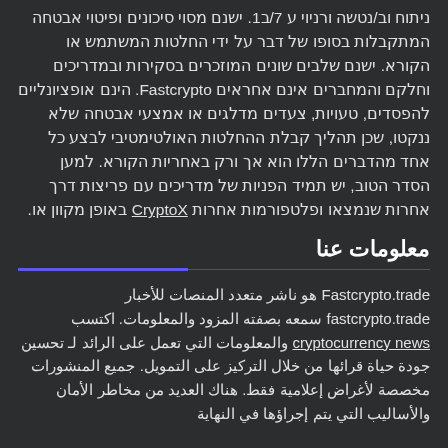ניתוח וב/נטשה ורניוי ע 7/ב1. ישנם מסוי סיכונים ופיטוי אבטחה המתקבלות בסופו של דבר על ידי החלטות המשתמש או הקורא. ישנם שלבים שונים המוזכרים בסקירות ובמדריכים וחלקם והמחברים אינם אחראים Fastcrypto. הינם אופציונליים להפסדים, טעויות, צעדים מדלגים או אמצעי אבטחה שלא ננקטו, שכן תהליך קבלת ההחלטות האולטימטיבי לבצע כל אחד מהדברים הללו הוא אך ורק באחריות הקורא. למען הסדר הטוב, יש תמיד הפניות של מדריכים עם פריצות דרך אחרות שנמצאו ופלטפורמות אחרות CryptoX באופן מקוון או
معلومات عنا
Fastcrypto.trade هو ناشر متعدد المنصات للأخبار fastcrypto.trade سمعه بصفته المزود والمعلومات. اكتسب cryptocurrency news والمعلومات التي تعمل على الرائد لـ تحسين جودة حياة قرائها من خلال التركيز على التمويل. جميع المنشورات مخصصة لأغراض إعلامية فقط. هناك العديد من مخاطر الأمان والأساليب التي يتم إجراؤها في النهاية